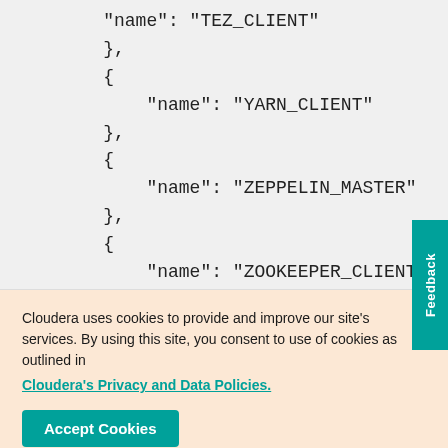"name": "TEZ_CLIENT"
    },
    {
        "name": "YARN_CLIENT"
    },
    {
        "name": "ZEPPELIN_MASTER"
    },
    {
        "name": "ZOOKEEPER_CLIENT"
    },
    {
Cloudera uses cookies to provide and improve our site's services. By using this site, you consent to use of cookies as outlined in Cloudera's Privacy and Data Policies.
Accept Cookies